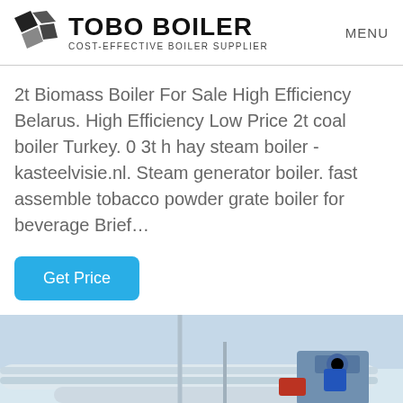TOBO BOILER COST-EFFECTIVE BOILER SUPPLIER | MENU
2t Biomass Boiler For Sale High Efficiency Belarus. High Efficiency Low Price 2t coal boiler Turkey. 0 3t h hay steam boiler - kasteelvisie.nl. Steam generator boiler. fast assemble tobacco powder grate boiler for beverage Brief…
[Figure (screenshot): Blue 'Get Price' button on white background]
[Figure (photo): Industrial boiler equipment showing large pipes and machinery in a warehouse/factory setting]
[Figure (logo): WhatsApp badge in green with phone icon and 'WhatsApp' text]